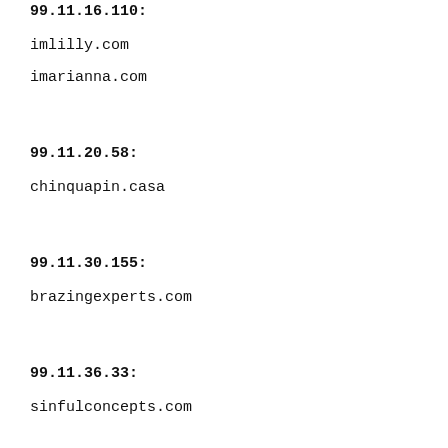99.11.16.110:
imlilly.com
imarianna.com
99.11.20.58:
chinquapin.casa
99.11.30.155:
brazingexperts.com
99.11.36.33:
sinfulconcepts.com